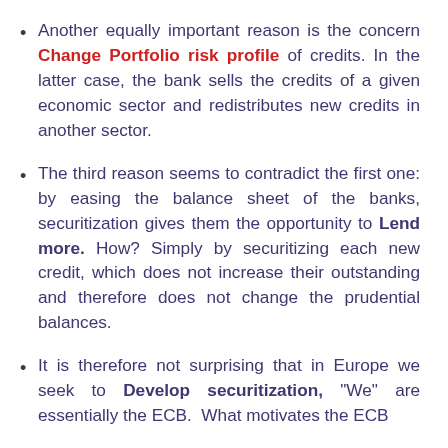Another equally important reason is the concern Change Portfolio risk profile of credits. In the latter case, the bank sells the credits of a given economic sector and redistributes new credits in another sector.
The third reason seems to contradict the first one: by easing the balance sheet of the banks, securitization gives them the opportunity to Lend more. How? Simply by securitizing each new credit, which does not increase their outstanding and therefore does not change the prudential balances.
It is therefore not surprising that in Europe we seek to Develop securitization, "We" are essentially the ECB. What motivates the ECB